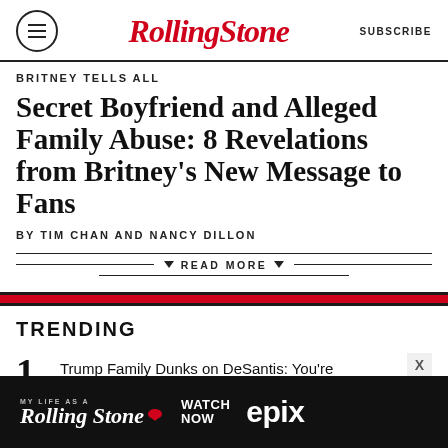Rolling Stone | SUBSCRIBE
BRITNEY TELLS ALL
Secret Boyfriend and Alleged Family Abuse: 8 Revelations from Britney's New Message to Fans
BY TIM CHAN AND NANCY DILLON
▼ READ MORE ▼
TRENDING
1 Trump Family Dunks on DeSantis: You're 'Stealing' Our Bit!
[Figure (advertisement): MY LIFE AS A ROLLING STONE - WATCH NOW EPIX advertisement banner on black background]